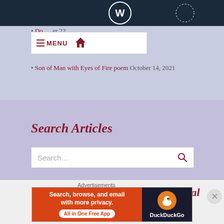[Figure (screenshot): Dark navy banner with WordPress logo and dotted circle icon]
Do … er 22,
[Figure (screenshot): Navigation bar with hamburger menu icon labeled MENU and a home icon]
Son of Man with Eyes of Fire poem October 14, 2021
Search Articles
Search...
Tired of negativity in news and social
Advertisements
[Figure (screenshot): DuckDuckGo advertisement banner: Search, browse, and email with more privacy. All in One Free App.]